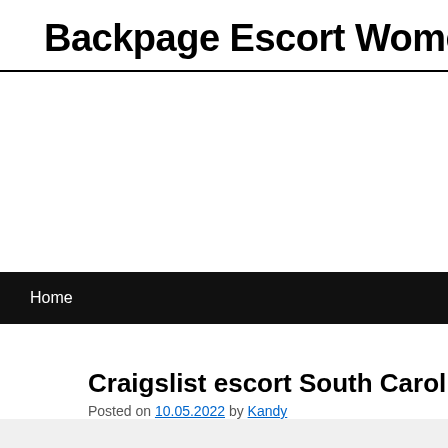Backpage Escort Women Unit…
Home
Craigslist escort South Carolina services…
Posted on 10.05.2022 by Kandy